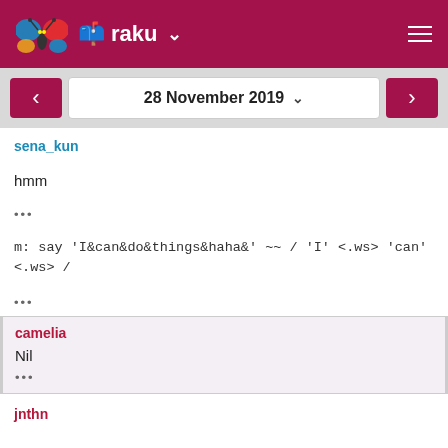raku
28 November 2019
sena_kun
hmm
•••
m: say 'I&can&do&things&haha&' ~~ / 'I' <.ws> 'can' <.ws> /
•••
camelia
Nil
•••
jnthn